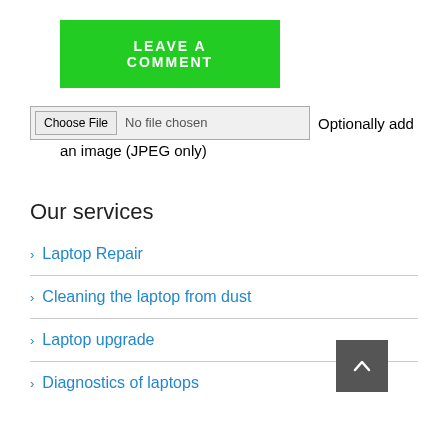LEAVE A COMMENT
Choose File  No file chosen  Optionally add an image (JPEG only)
Our services
> Laptop Repair
> Cleaning the laptop from dust
> Laptop upgrade
> Diagnostics of laptops